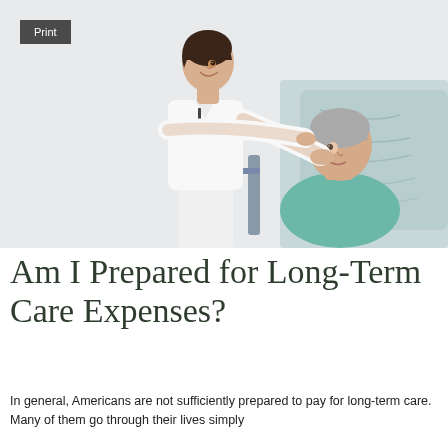Print
[Figure (photo): A smiling female nurse in white uniform tending to an elderly woman with gray hair who is sitting up in a hospital bed with a blue pillow behind her.]
Am I Prepared for Long-Term Care Expenses?
In general, Americans are not sufficiently prepared to pay for long-term care. Many of them go through their lives simply